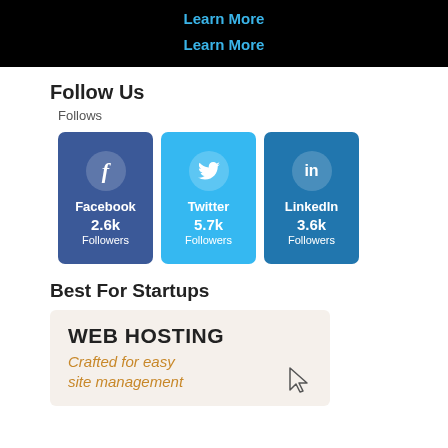Learn More
Learn More
Follow Us
Follows
[Figure (infographic): Three social media follower cards: Facebook 2.6k Followers, Twitter 5.7k Followers, LinkedIn 3.6k Followers]
Best For Startups
[Figure (infographic): Web Hosting promotional card with text: WEB HOSTING, Crafted for easy site management, with a cursor icon]